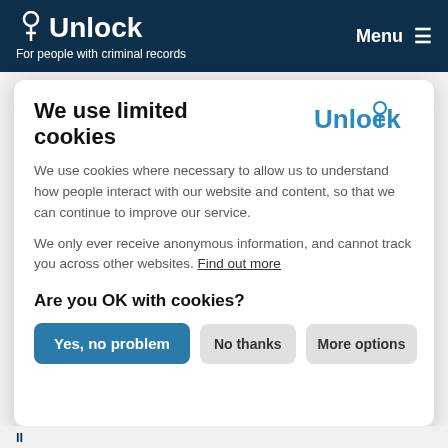Unlock – For people with criminal records | Menu
You'll find further information about working in the healthcare sector at
We use limited cookies
[Figure (logo): Unlock logo in blue with pin icon]
We use cookies where necessary to allow us to understand how people interact with our website and content, so that we can continue to improve our service.

We only ever receive anonymous information, and cannot track you across other websites. Find out more
Are you OK with cookies?
Yes, no problem | No thanks | More options